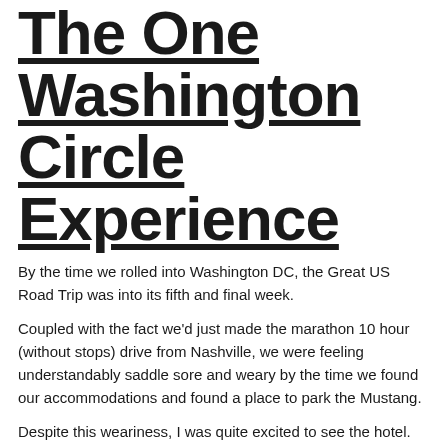The One Washington Circle Experience
By the time we rolled into Washington DC, the Great US Road Trip was into its fifth and final week.
Coupled with the fact we'd just made the marathon 10 hour (without stops) drive from Nashville, we were feeling understandably saddle sore and weary by the time we found our accommodations and found a place to park the Mustang.
Despite this weariness, I was quite excited to see the hotel. I'd partnered with Modus Hotels for our two nights in DC, and was intrigued to see what a 'lifestyle hotel' was.